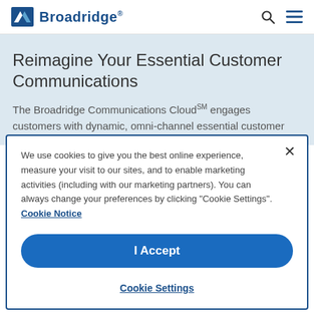[Figure (logo): Broadridge logo with blue icon and bold blue text 'Broadridge']
Reimagine Your Essential Customer Communications
The Broadridge Communications Cloudˢᴹ engages customers with dynamic, omni-channel essential customer
We use cookies to give you the best online experience, measure your visit to our sites, and to enable marketing activities (including with our marketing partners). You can always change your preferences by clicking “Cookie Settings”. Cookie Notice
I Accept
Cookie Settings